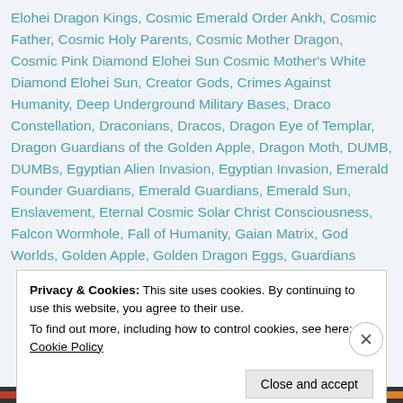Elohei Dragon Kings, Cosmic Emerald Order Ankh, Cosmic Father, Cosmic Holy Parents, Cosmic Mother Dragon, Cosmic Pink Diamond Elohei Sun Cosmic Mother's White Diamond Elohei Sun, Creator Gods, Crimes Against Humanity, Deep Underground Military Bases, Draco Constellation, Draconians, Dracos, Dragon Eye of Templar, Dragon Guardians of the Golden Apple, Dragon Moth, DUMB, DUMBs, Egyptian Alien Invasion, Egyptian Invasion, Emerald Founder Guardians, Emerald Guardians, Emerald Sun, Enslavement, Eternal Cosmic Solar Christ Consciousness, Falcon Wormhole, Fall of Humanity, Gaian Matrix, God Worlds, Golden Apple, Golden Dragon Eggs, Guardians
Privacy & Cookies: This site uses cookies. By continuing to use this website, you agree to their use.
To find out more, including how to control cookies, see here: Cookie Policy
Close and accept